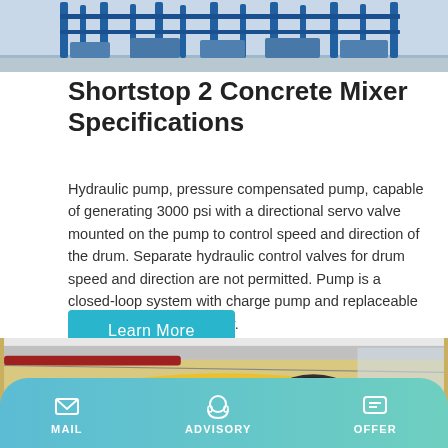[Figure (photo): Industrial concrete mixer equipment lined up in a yard with blue steel frames, outdoor setting.]
Shortstop 2 Concrete Mixer Specifications
Hydraulic pump, pressure compensated pump, capable of generating 3000 psi with a directional servo valve mounted on the pump to control speed and direction of the drum. Separate hydraulic control valves for drum speed and direction are not permitted. Pump is a closed-loop system with charge pump and replaceable high pressure charge filter.
Learn More
[Figure (photo): Yellow concrete mixer drum in an industrial facility, close-up view from above showing the drum hood.]
MAIL   ADVISORY   OFFER